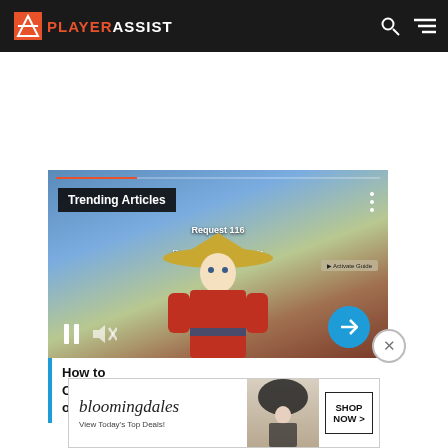PLAYER ASSIST
[Figure (screenshot): Video player showing a game character (Pokemon Legends Arceus style) with a yellow hat and red outfit. Overlay shows 'Trending Articles' label, game info 'Request 116 - Roselia's Path of Solitude', video controls (pause, mute, arrow), and three-dot menu.]
How to Complete the "Roselia's Path of Solitude" Request (Reque...
[Figure (other): Bloomingdales advertisement banner - 'View Today's Top Deals!' with SHOP NOW > button]